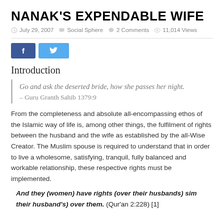NANAK'S EXPENDABLE WIFE
July 29, 2007  Social Sphere  2 Comments  11,014 Views
[Figure (other): Social share buttons: Facebook (f) and Twitter (bird icon)]
Introduction
Go and ask the deserted bride, how she passes her night.
– Guru Granth Sahib 1379:9
From the completeness and absolute all-encompassing ethos of the Islamic way of life is, among other things, the fulfilment of rights between the husband and the wife as established by the all-Wise Creator. The Muslim spouse is required to understand that in order to live a wholesome, satisfying, tranquil, fully balanced and workable relationship, these respective rights must be implemented.
And they (women) have rights (over their husbands) similar (to those of) their husband's) over them. (Qur'an 2:228) [1]